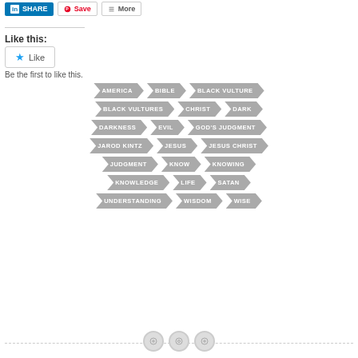[Figure (infographic): Social share buttons: LinkedIn Share, Pinterest Save, More]
Like this:
[Figure (infographic): Like button widget with star icon and text 'Like']
Be the first to like this.
AMERICA
BIBLE
BLACK VULTURE
BLACK VULTURES
CHRIST
DARK
DARKNESS
EVIL
GOD'S JUDGMENT
JAROD KINTZ
JESUS
JESUS CHRIST
JUDGMENT
KNOW
KNOWING
KNOWLEDGE
LIFE
SATAN
UNDERSTANDING
WISDOM
WISE